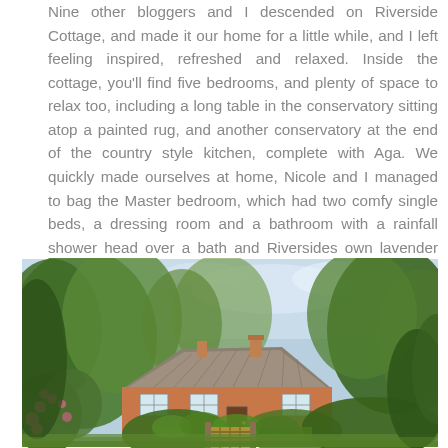Nine other bloggers and I descended on Riverside Cottage, and made it our home for a little while, and I left feeling inspired, refreshed and relaxed. Inside the cottage, you'll find five bedrooms, and plenty of space to relax too, including a long table in the conservatory sitting atop a painted rug, and another conservatory at the end of the country style kitchen, complete with Aga. We quickly made ourselves at home, Nicole and I managed to bag the Master bedroom, which had two comfy single beds, a dressing room and a bathroom with a rainfall shower head over a bath and Riversides own lavender scented soap and hand cream.
[Figure (photo): Exterior view of Riverside Cottage, a thatched-roof brick cottage surrounded by lush green trees and garden foliage, with a wooden gate in the foreground and pink flowering shrubs to the left.]